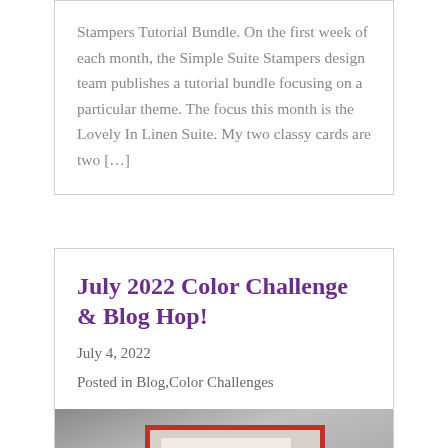Stampers Tutorial Bundle. On the first week of each month, the Simple Suite Stampers design team publishes a tutorial bundle focusing on a particular theme. The focus this month is the Lovely In Linen Suite. My two classy cards are two […]
July 2022 Color Challenge & Blog Hop!
July 4, 2022
Posted in Blog,Color Challenges
[Figure (photo): Photo of a handmade card with a red border frame on a gray background]